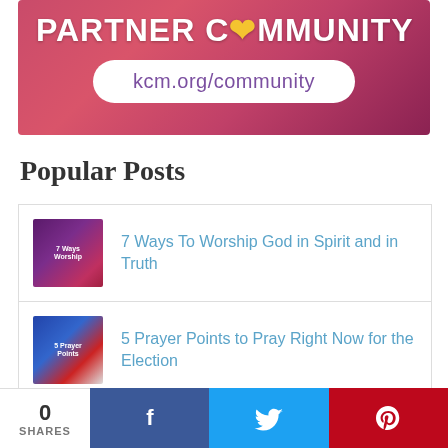[Figure (illustration): Partner Community banner with pink/red gradient background, white bold text 'PARTNER COMMUNITY' with a colorful heart icon replacing the letter 'O', and a white pill-shaped URL bar reading 'kcm.org/community' in purple text]
Popular Posts
7 Ways To Worship God in Spirit and in Truth
5 Prayer Points to Pray Right Now for the Election
4 Ways to Know If You're Hearing God's Voice
0 SHARES | Facebook | Twitter | Pinterest